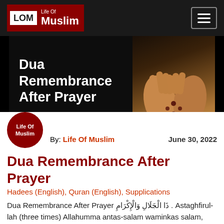LOM Life Of Muslim
[Figure (photo): Hero banner with text 'Dua Remembrance After Prayer' on a dark background with hands raised in prayer holding prayer beads. Footer shows Facebook.com/LifeOfMuslim and Youtube.com/c/LifeOfMuslimOfficial]
By: Life Of Muslim    June 30, 2022
Dua Remembrance After Prayer
Hadees (English), Quran (English), Supplications
Dua Remembrance After Prayer ذَا الْجَلَالِ وَالْإِكْرَامِ . Astaghfirul-lah (three times) Allahumma antas-salam waminkas salam, tabarakta ya thal jalali wal ikram. Lask